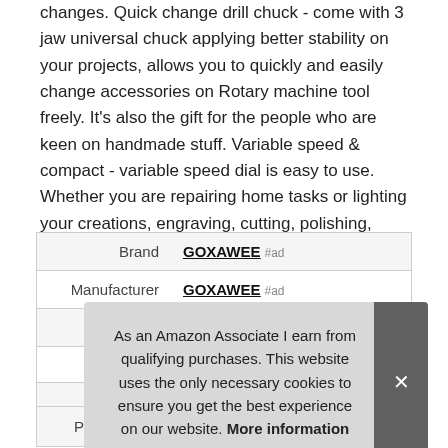changes. Quick change drill chuck - come with 3 jaw universal chuck applying better stability on your projects, allows you to quickly and easily change accessories on Rotary machine tool freely. It's also the gift for the people who are keen on handmade stuff. Variable speed & compact - variable speed dial is easy to use. Whether you are repairing home tasks or lighting your creations, engraving, cutting, polishing, deburring, cleaning, shaping, this is really a worth value investment.
|  |  |
| --- | --- |
| Brand | GOXAWEE #ad |
| Manufacturer | GOXAWEE #ad |
| Height | 2.95 Inches |
|  |  |
|  |  |
| Part Number | G4007 |
As an Amazon Associate I earn from qualifying purchases. This website uses the only necessary cookies to ensure you get the best experience on our website. More information